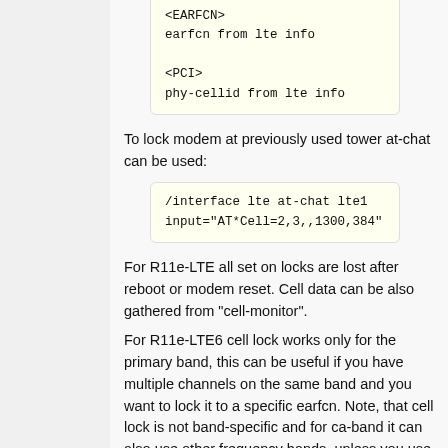[Figure (screenshot): Code block showing <EARFCN> earfcn from lte info and <PCI> phy-cellid from lte info]
To lock modem at previously used tower at-chat can be used:
[Figure (screenshot): Code block: /interface lte at-chat lte1 input="AT*Cell=2,3,,1300,384"]
For R11e-LTE all set on locks are lost after reboot or modem reset. Cell data can be also gathered from "cell-monitor".
For R11e-LTE6 cell lock works only for the primary band, this can be useful if you have multiple channels on the same band and you want to lock it to a specific earfcn. Note, that cell lock is not band-specific and for ca-band it can also use other frequency bands, unless you use band lock.
Use cell lock to set the primary band to the